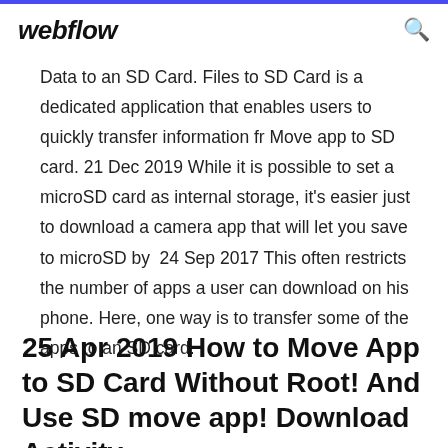webflow
Data to an SD Card. Files to SD Card is a dedicated application that enables users to quickly transfer information fr Move app to SD card. 21 Dec 2019 While it is possible to set a microSD card as internal storage, it's easier just to download a camera app that will let you save to microSD by  24 Sep 2017 This often restricts the number of apps a user can download on his phone. Here, one way is to transfer some of the apps to an SD card.
25 Apr 2019 How to Move App to SD Card Without Root! And Use SD move app! Download Activity